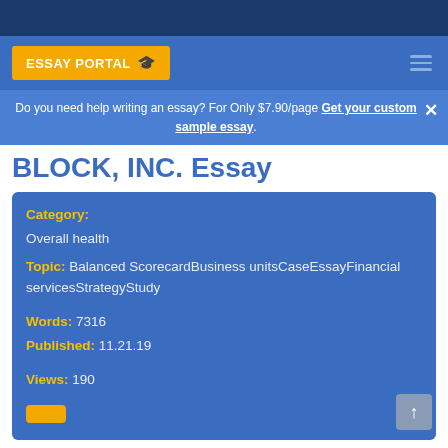ESSAY PORTAL
Do you need help writing an essay? For Only $7.90/page Get your custom sample essay.
BLOCK, INC. Essay
Category: Overall health
Topic: Balanced ScorecardBusiness unitsCaseEssayFinancial servicesStrategyStudy
Words: 7316
Published: 11.21.19
Views: 190